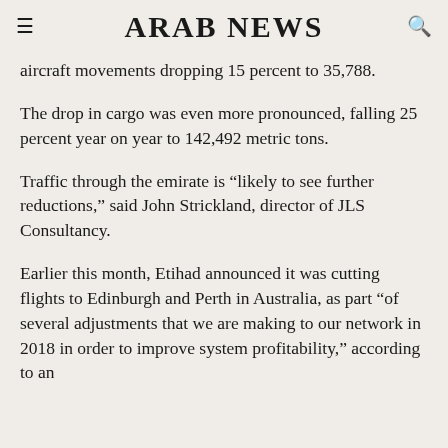ARAB NEWS
aircraft movements dropping 15 percent to 35,788.
The drop in cargo was even more pronounced, falling 25 percent year on year to 142,492 metric tons.
Traffic through the emirate is “likely to see further reductions,” said John Strickland, director of JLS Consultancy.
Earlier this month, Etihad announced it was cutting flights to Edinburgh and Perth in Australia, as part “of several adjustments that we are making to our network in 2018 in order to improve system profitability,” according to an